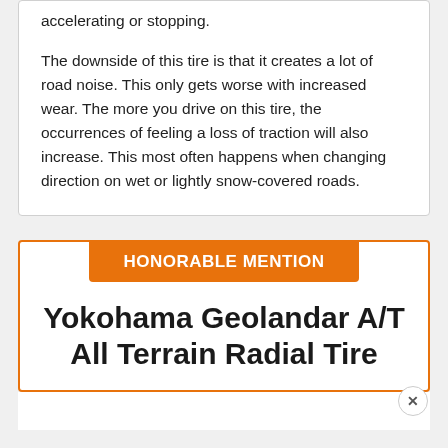accelerating or stopping.
The downside of this tire is that it creates a lot of road noise. This only gets worse with increased wear. The more you drive on this tire, the occurrences of feeling a loss of traction will also increase. This most often happens when changing direction on wet or lightly snow-covered roads.
HONORABLE MENTION
Yokohama Geolandar A/T All Terrain Radial Tire